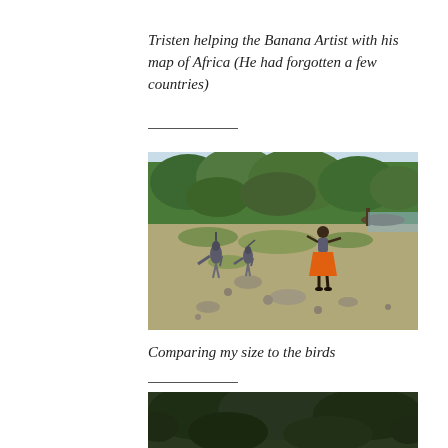Tristen helping the Banana Artist with his map of Africa (He had forgotten a few countries)
[Figure (photo): Outdoor scene near a waterway with trees/shrubs in background. A child in a bright orange skirt stands in the middle distance, and several large birds (cranes or herons) are visible on the grassy/rocky ground. Boats and other people visible in the far background.]
Comparing my size to the birds
[Figure (photo): Partial photo visible at bottom of page showing a dark, densely vegetated outdoor scene.]